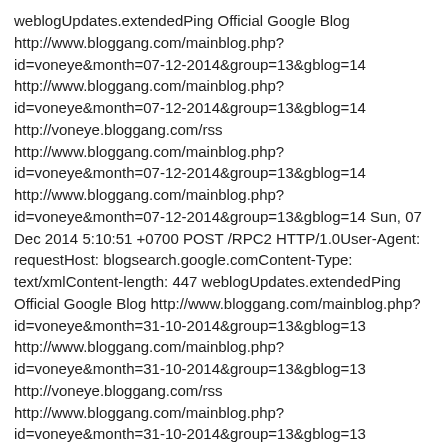weblogUpdates.extendedPing Official Google Blog http://www.bloggang.com/mainblog.php?id=voneye&month=07-12-2014&group=13&gblog=14 http://www.bloggang.com/mainblog.php?id=voneye&month=07-12-2014&group=13&gblog=14 http://voneye.bloggang.com/rss http://www.bloggang.com/mainblog.php?id=voneye&month=07-12-2014&group=13&gblog=14 http://www.bloggang.com/mainblog.php?id=voneye&month=07-12-2014&group=13&gblog=14 Sun, 07 Dec 2014 5:10:51 +0700 POST /RPC2 HTTP/1.0User-Agent: requestHost: blogsearch.google.comContent-Type: text/xmlContent-length: 447 weblogUpdates.extendedPing Official Google Blog http://www.bloggang.com/mainblog.php?id=voneye&month=31-10-2014&group=13&gblog=13 http://www.bloggang.com/mainblog.php?id=voneye&month=31-10-2014&group=13&gblog=13 http://voneye.bloggang.com/rss http://www.bloggang.com/mainblog.php?id=voneye&month=31-10-2014&group=13&gblog=13 http://www.bloggang.com/mainblog.php?id=voneye&month=31-10-2014&group=13&gblog=13 Fri, 31 Oct 2014 5:27:37 +0700 POST /RPC2 HTTP/1.0User-Agent: requestHost: blogsearch.google.comContent-Type: text/xmlContent-length: 447 weblogUpdates.extendedPing Official Google Blog http://www.bloggang.com/mainblog.php?id=voneye&month=28-12-2013&group=13&gblog=12